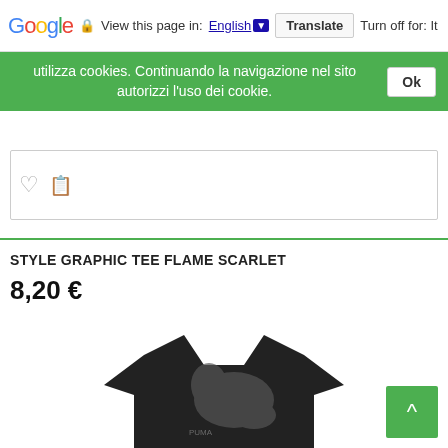Google | View this page in: English [▼] Translate | Turn off for: It
utilizza cookies. Continuando la navigazione nel sito autorizzi l'uso dei cookie.
STYLE GRAPHIC TEE FLAME SCARLET
8,20 €
[Figure (photo): Black Puma graphic t-shirt with large Puma cat logo on front, shown partially from top on white background]
∧ (back to top button)